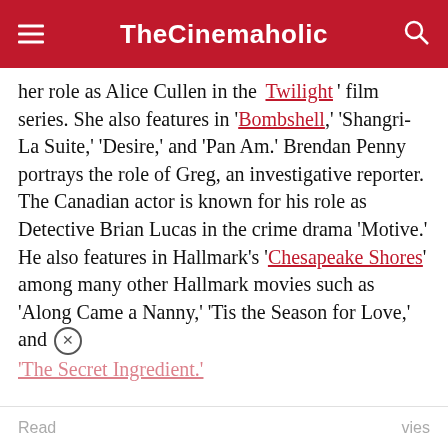TheCinemaholic
her role as Alice Cullen in the 'Twilight' film series. She also features in 'Bombshell,' 'Shangri-La Suite,' 'Desire,' and 'Pan Am.' Brendan Penny portrays the role of Greg, an investigative reporter. The Canadian actor is known for his role as Detective Brian Lucas in the crime drama 'Motive.' He also features in Hallmark's 'Chesapeake Shores' among many other Hallmark movies such as 'Along Came a Nanny,' 'Tis the Season for Love,' and 'The Secret Ingredient.'
Read ... vies